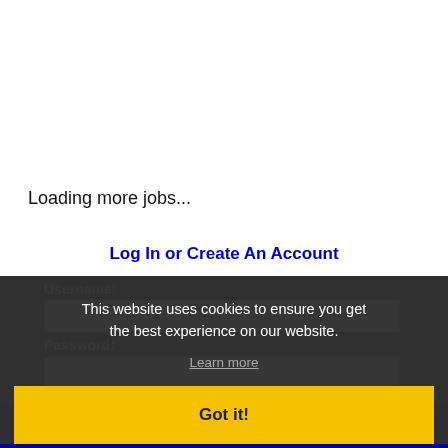Loading more jobs...
Log In or Create An Account
Username:
Password:
This website uses cookies to ensure you get the best experience on our website.
Learn more
Got it!
Log in